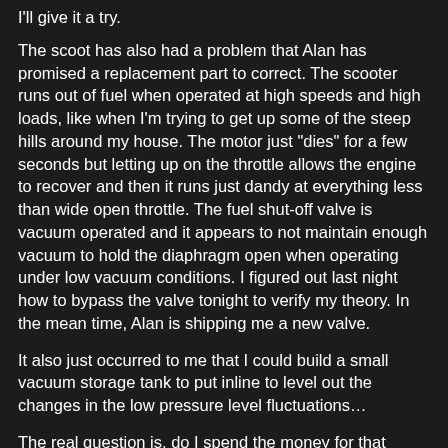I'll give it a try.
The scoot has also had a problem that Alan has promised a replacement part to correct. The scooter runs out of fuel when operated at high speeds and high loads, like when I'm trying to get up some of the steep hills around my house. The motor just "dies" for a few seconds but letting up on the throttle allows the engine to recover and then it runs just dandy at everything less than wide open throttle. The fuel shut-off valve is vacuum operated and it appears to not maintain enough vacuum to hold the diaphragm open when operating under low vacuum conditions. I figured out last night how to bypass the valve tonight to verify my theory. In the mean time, Alan is shipping me a new valve.
It also just occurred to me that I could build a small vacuum storage tank to put inline to level out the changes in the low pressure level fluctuations…
The real question is, do I spend the money for that 30mm carburetor that has an accelerator pump feature? Hmm...